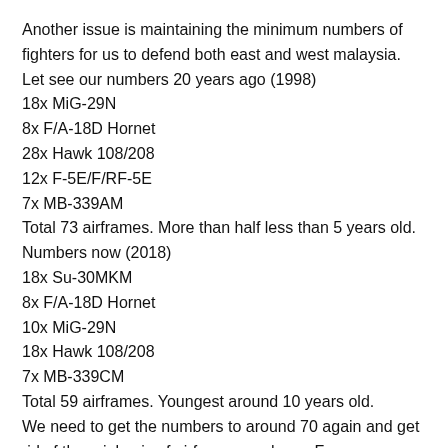Another issue is maintaining the minimum numbers of fighters for us to defend both east and west malaysia. Let see our numbers 20 years ago (1998)
18x MiG-29N
8x F/A-18D Hornet
28x Hawk 108/208
12x F-5E/F/RF-5E
7x MB-339AM
Total 73 airframes. More than half less than 5 years old.
Numbers now (2018)
18x Su-30MKM
8x F/A-18D Hornet
10x MiG-29N
18x Hawk 108/208
7x MB-339CM
Total 59 airframes. Youngest around 10 years old.
We need to get the numbers to around 70 again and get rid of the rojak mix of airframes we have. From my previous article: 2025 milestone fighter fleet –
18x Su-30MKM